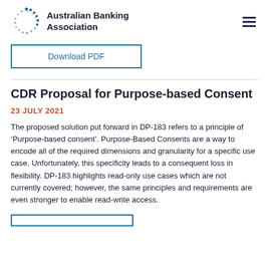Australian Banking Association
Download PDF
CDR Proposal for Purpose-based Consent
23 JULY 2021
The proposed solution put forward in DP-183 refers to a principle of ‘Purpose-based consent’. Purpose-Based Consents are a way to encode all of the required dimensions and granularity for a specific use case. Unfortunately, this specificity leads to a consequent loss in flexibility. DP-183 highlights read-only use cases which are not currently covered; however, the same principles and requirements are even stronger to enable read-write access.